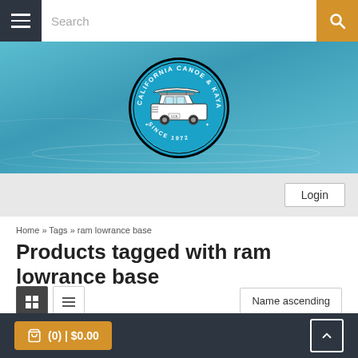Search
[Figure (logo): California Canoe & Kayak circular logo with a car carrying a canoe on the roof, blue background, 'Since 1972' text]
Login
Home » Tags » ram lowrance base
Products tagged with ram lowrance base
Name ascending
No products found...  Excl. tax
(0) | $0.00